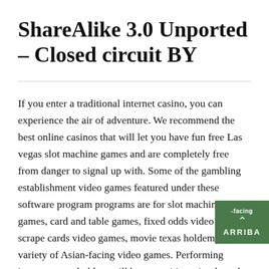ShareAlike 3.0 Unported – Closed circuit BY
If you enter a traditional internet casino, you can experience the air of adventure. We recommend the best online casinos that will let you have fun free Las vegas slot machine games and are completely free from danger to signal up with. Some of the gambling establishment video games featured under these software program programs are for slot machine video games, card and table games, fixed odds video games, scrape cards video games, movie texas holdem, and a variety of Asian-facing video games. Performing internet texas holdem will be an exciting, simple and easy, and elaborate hobby that may